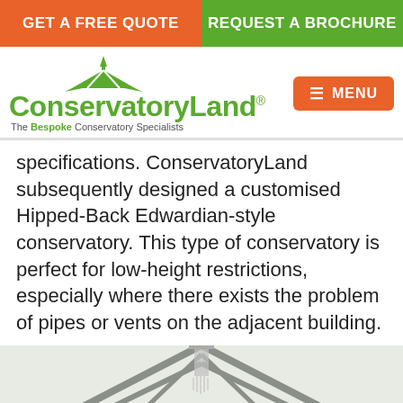GET A FREE QUOTE | REQUEST A BROCHURE
[Figure (logo): ConservatoryLand logo with green conservatory roof icon and tagline 'The Bespoke Conservatory Specialists']
specifications. ConservatoryLand subsequently designed a customised Hipped-Back Edwardian-style conservatory. This type of conservatory is perfect for low-height restrictions, especially where there exists the problem of pipes or vents on the adjacent building.
[Figure (photo): Interior view of a Hipped-Back Edwardian-style conservatory with grey aluminium frames, glass roof panels, a chandelier, and windows looking out to a residential street.]